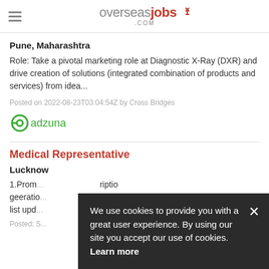[Figure (logo): overseasjobs.com logo with hamburger menu icon on the left]
Pune, Maharashtra
Role: Take a pivotal marketing role at Diagnostic X-Ray (DXR) and drive creation of solutions (integrated combination of products and services) from idea...
Posted on 2022-08-23T03:04:54Z by Cross Bridges
[Figure (logo): Adzuna logo in green]
Medical Representative
Lucknow
1.Prom...riptio geeratio...doctor list upd...
Posted: S...
We use cookies to provide you with a great user experience. By using our site you accept our use of cookies. Learn more